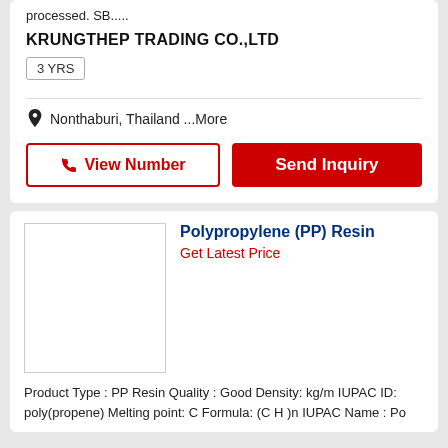processed. SB.....
KRUNGTHEP TRADING CO.,LTD
3 YRS
Nonthaburi, Thailand ...More
View Number
Send Inquiry
Polypropylene (PP) Resin
Get Latest Price
Product Type : PP Resin Quality : Good Density: kg/m IUPAC ID: poly(propene) Melting point: C Formula: (C H )n IUPAC Name : Po